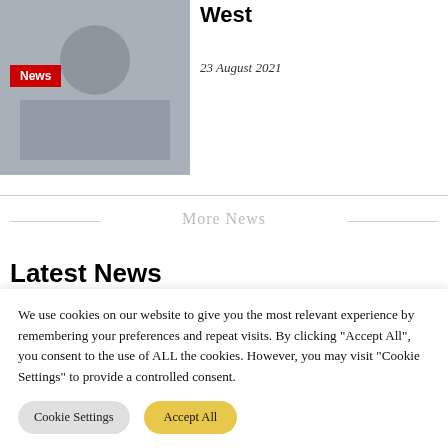[Figure (photo): News article thumbnail image showing a person, partially cropped]
News
West
23 August 2021
More News
Latest News
[Figure (photo): Thumbnail image for latest news article]
March to defend
We use cookies on our website to give you the most relevant experience by remembering your preferences and repeat visits. By clicking "Accept All", you consent to the use of ALL the cookies. However, you may visit "Cookie Settings" to provide a controlled consent.
Cookie Settings
Accept All